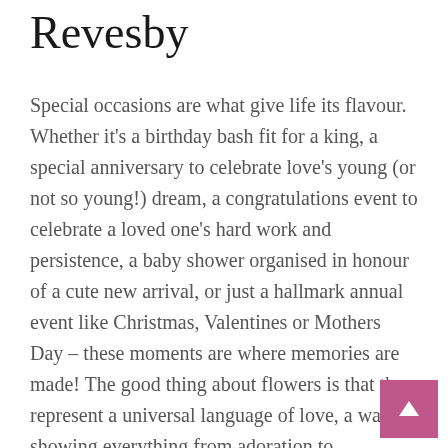Revesby
Special occasions are what give life its flavour. Whether it's a birthday bash fit for a king, a special anniversary to celebrate love's young (or not so young!) dream, a congratulations event to celebrate a loved one's hard work and persistence, a baby shower organised in honour of a cute new arrival, or just a hallmark annual event like Christmas, Valentines or Mothers Day – these moments are where memories are made! The good thing about flowers is that they represent a universal language of love, a way of showing everything from adoration to sympathy. If you're looking to order flowers online in Revesby then look no further, we stock flowers suitable